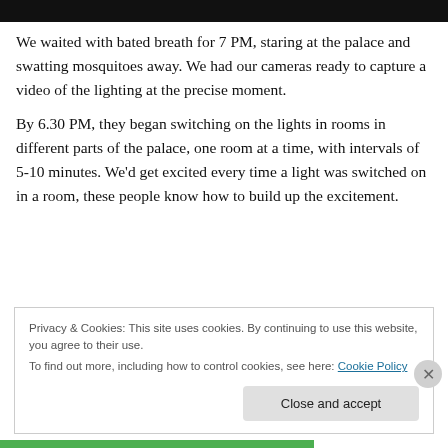[Figure (photo): Dark photo bar at top of page showing partial image of a palace or building]
We waited with bated breath for 7 PM, staring at the palace and swatting mosquitoes away. We had our cameras ready to capture a video of the lighting at the precise moment.
By 6.30 PM, they began switching on the lights in rooms in different parts of the palace, one room at a time, with intervals of 5-10 minutes. We'd get excited every time a light was switched on in a room, these people know how to build up the excitement.
Privacy & Cookies: This site uses cookies. By continuing to use this website, you agree to their use.
To find out more, including how to control cookies, see here: Cookie Policy